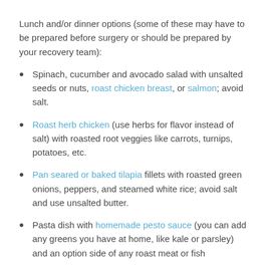Lunch and/or dinner options (some of these may have to be prepared before surgery or should be prepared by your recovery team):
Spinach, cucumber and avocado salad with unsalted seeds or nuts, roast chicken breast, or salmon; avoid salt.
Roast herb chicken (use herbs for flavor instead of salt) with roasted root veggies like carrots, turnips, potatoes, etc.
Pan seared or baked tilapia fillets with roasted green onions, peppers, and steamed white rice; avoid salt and use unsalted butter.
Pasta dish with homemade pesto sauce (you can add any greens you have at home, like kale or parsley) and an option side of any roast meat or fish
Quinoa salad with grape tomatoes, red onions, with fresh goat cheese and topped with boiled eggs. Use